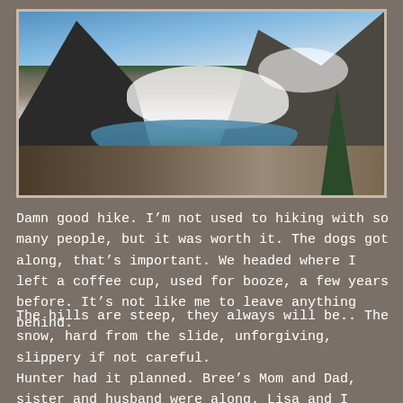[Figure (photo): Mountain landscape with steep rocky peaks, snow patches, a partially frozen alpine lake reflecting blue sky, conifer trees on the right, and rocky terrain in the foreground.]
Damn good hike. I’m not used to hiking with so many people, but it was worth it. The dogs got along, that’s important. We headed where I left a coffee cup, used for booze, a few years before. It’s not like me to leave anything behind.
The hills are steep, they always will be.. The snow, hard from the slide, unforgiving, slippery if not careful.
Hunter had it planned. Bree’s Mom and Dad, sister and husband were along. Lisa and I